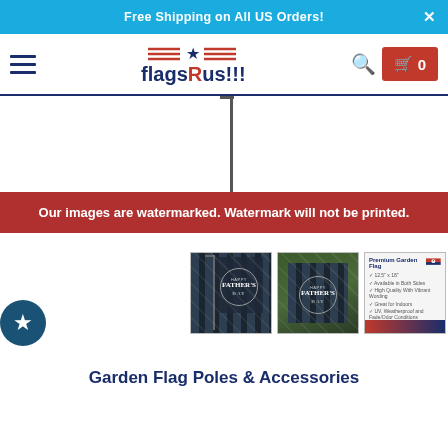Free Shipping on All US Orders! ×
[Figure (screenshot): FlagsRus!!! website navigation bar with hamburger menu, logo, search icon, and cart button showing 0 items]
[Figure (photo): Father's Day garden flag product images - thumbnail showing flag on pole, outdoor photo, and product info card]
Our images are watermarked. Watermark will not be printed.
Garden Flag Poles & Accessories
[Figure (screenshot): YouTube video thumbnail: How to Hang a Garden F... with FlagsRus!!! channel logo and red play button]